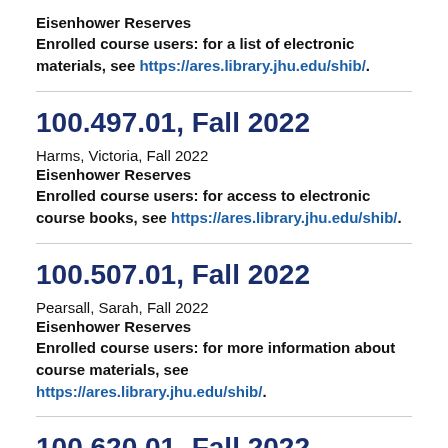Eisenhower Reserves
Enrolled course users: for a list of electronic materials, see https://ares.library.jhu.edu/shib/.
100.497.01, Fall 2022
Harms, Victoria, Fall 2022
Eisenhower Reserves
Enrolled course users: for access to electronic course books, see https://ares.library.jhu.edu/shib/.
100.507.01, Fall 2022
Pearsall, Sarah, Fall 2022
Eisenhower Reserves
Enrolled course users: for more information about course materials, see https://ares.library.jhu.edu/shib/.
100.620.01, Fall 2022